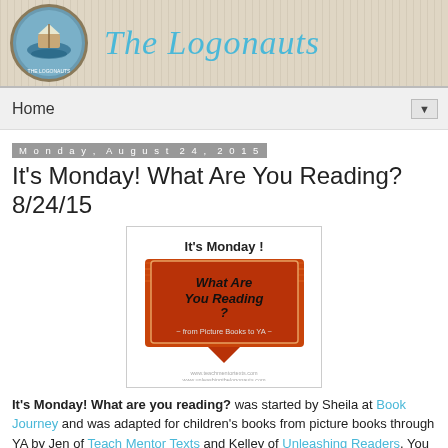The Logonauts
Home
Monday, August 24, 2015
It's Monday! What Are You Reading? 8/24/15
[Figure (illustration): It's Monday! What Are You Reading? - from Picture Books to YA - meme image with red speech bubble on orange striped background]
It's Monday! What are you reading? was started by Sheila at Book Journey and was adapted for children's books from picture books through YA by Jen of Teach Mentor Texts and Kelley of Unleashing Readers. You can visit either site for